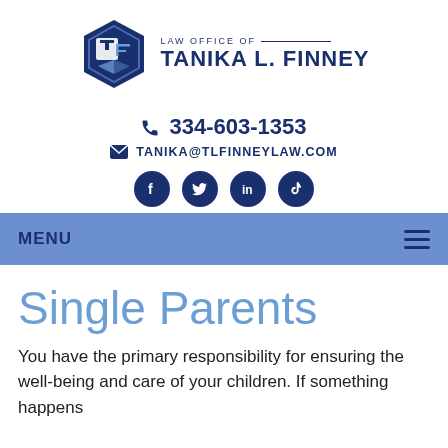[Figure (logo): Law Office of Tanika L. Finney hexagonal logo with TF letters and scales of justice icon, dark navy blue color scheme]
☎ 334-603-1353
✉ TANIKA@TLFINNEYLAW.COM
[Figure (illustration): Four social media icons in dark navy circles: Facebook, Twitter, LinkedIn, TikTok]
MENU
Single Parents
You have the primary responsibility for ensuring the well-being and care of your children. If something happens